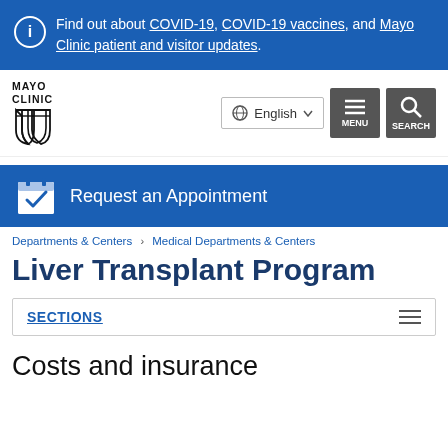Find out about COVID-19, COVID-19 vaccines, and Mayo Clinic patient and visitor updates.
[Figure (logo): Mayo Clinic logo with shield emblem]
English
MENU
SEARCH
Request an Appointment
Departments & Centers › Medical Departments & Centers
Liver Transplant Program
SECTIONS
Costs and insurance